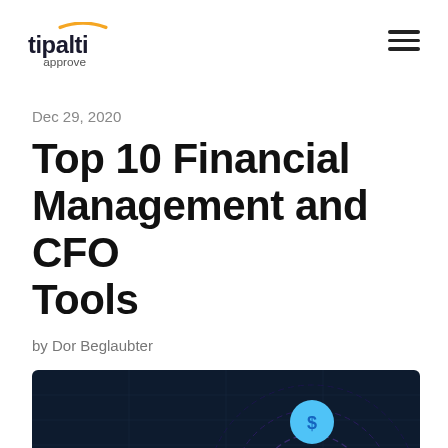tipalti approve
Dec 29, 2020
Top 10 Financial Management and CFO Tools
by Dor Beglaubter
[Figure (illustration): Dark themed dashboard illustration with dashed concentric circles and a dollar sign icon in a teal/blue circle]